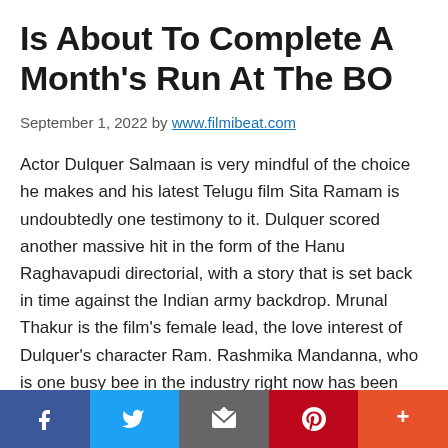Is About To Complete A Month's Run At The BO
September 1, 2022 by www.filmibeat.com
Actor Dulquer Salmaan is very mindful of the choice he makes and his latest Telugu film Sita Ramam is undoubtedly one testimony to it. Dulquer scored another massive hit in the form of the Hanu Raghavapudi directorial, with a story that is set back in time against the Indian army backdrop. Mrunal Thakur is the film's female lead, the love interest of Dulquer's character Ram. Rashmika Mandanna, who is one busy bee in the industry right now has been roped in for a crucial role, a Pakistani
[Figure (infographic): Social media share bar with Facebook, Twitter, Email, Pinterest, and More buttons]